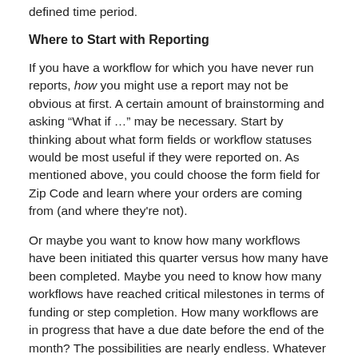defined time period.
Where to Start with Reporting
If you have a workflow for which you have never run reports, how you might use a report may not be obvious at first. A certain amount of brainstorming and asking “What if …” may be necessary. Start by thinking about what form fields or workflow statuses would be most useful if they were reported on. As mentioned above, you could choose the form field for Zip Code and learn where your orders are coming from (and where they're not).
Or maybe you want to know how many workflows have been initiated this quarter versus how many have been completed. Maybe you need to know how many workflows have reached critical milestones in terms of funding or step completion. How many workflows are in progress that have a due date before the end of the month? The possibilities are nearly endless. Whatever data your online forms or automated workflows collect, you can use to create reports.
Test Cases Help You Improve Reporting